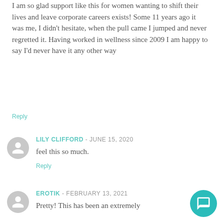I am so glad support like this for women wanting to shift their lives and leave corporate careers exists! Some 11 years ago it was me, I didn't hesitate, when the pull came I jumped and never regretted it. Having worked in wellness since 2009 I am happy to say I'd never have it any other way
Reply
LILY CLIFFORD - JUNE 15, 2020
feel this so much.
Reply
EROTIK - FEBRUARY 13, 2021
Pretty! This has been an extremely